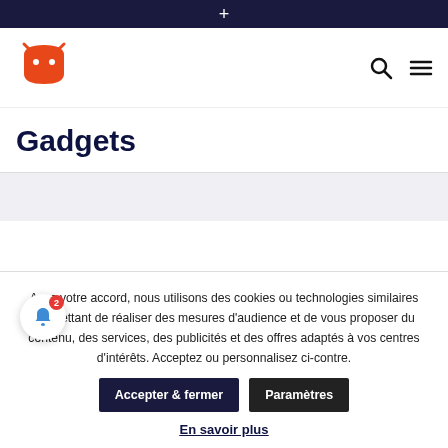+
[Figure (logo): Android robot logo in orange/red with antenna on dark robot head shape]
Gadgets
Avec votre accord, nous utilisons des cookies ou technologies similaires permettant de réaliser des mesures d'audience et de vous proposer du contenu, des services, des publicités et des offres adaptés à vos centres d'intérêts. Acceptez ou personnalisez ci-contre.
Accepter & fermer
Paramètres
En savoir plus